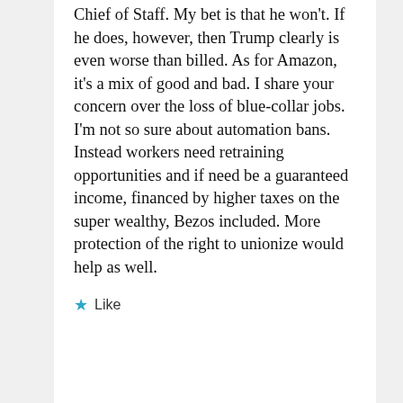Chief of Staff. My bet is that he won't. If he does, however, then Trump clearly is even worse than billed. As for Amazon, it's a mix of good and bad. I share your concern over the loss of blue-collar jobs. I'm not so sure about automation bans. Instead workers need retraining opportunities and if need be a guaranteed income, financed by higher taxes on the super wealthy, Bezos included. More protection of the right to unionize would help as well.
Like